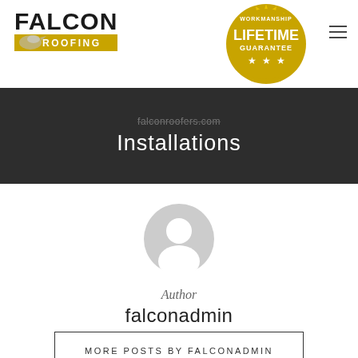FALCON ROOFING
Installations
[Figure (illustration): Grey circular user avatar icon with person silhouette]
Author
falconadmin
MORE POSTS BY FALCONADMIN